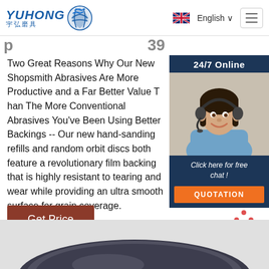YUHONG 宇弘磨具 | English | Navigation menu
Two Great Reasons Why Our New Shopsmith Abrasives Are More Productive and a Far Better Value Than The More Conventional Abrasives You've Been Using Better Backings -- Our new hand-sanding refills and random orbit discs both feature a revolutionary film backing that is highly resistant to tearing and wear while providing an ultra smooth surface for grain coverage.
[Figure (other): 24/7 Online customer service chat widget showing a woman with a headset, with 'Click here for free chat!' text and QUOTATION button]
[Figure (other): Get Price brown button]
[Figure (other): TOP navigation button with orange dots and red text]
[Figure (other): Bottom partial view of a dark abrasive disc product]